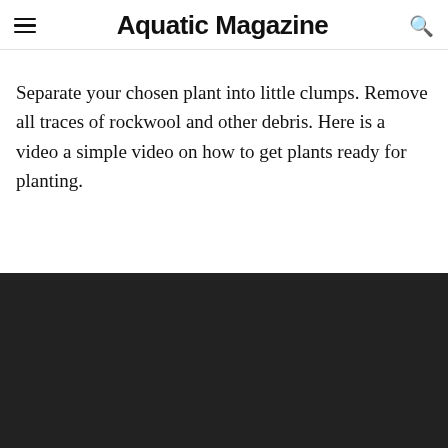Aquatic Magazine
Separate your chosen plant into little clumps. Remove all traces of rockwool and other debris. Here is a video a simple video on how to get plants ready for planting.
[Figure (screenshot): Dark/black video player embed area]